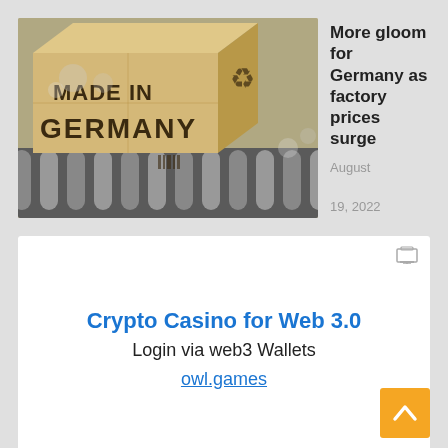[Figure (photo): A cardboard box labeled 'MADE IN GERMANY' on a conveyor belt with metal rollers]
More gloom for Germany as factory prices surge
August 19, 2022
[Figure (other): Advertisement: Crypto Casino for Web 3.0 - Login via web3 Wallets - owl.games]